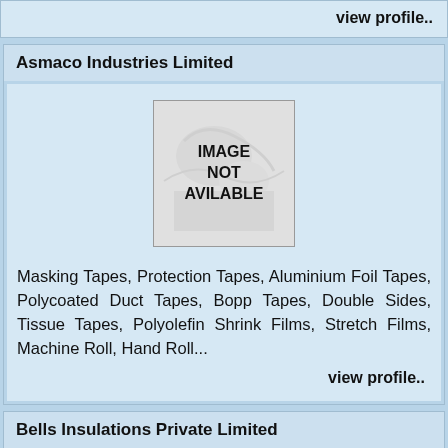view profile..
Asmaco Industries Limited
[Figure (illustration): IMAGE NOT AVILABLE placeholder image with faint background imagery]
Masking Tapes, Protection Tapes, Aluminium Foil Tapes, Polycoated Duct Tapes, Bopp Tapes, Double Sides, Tissue Tapes, Polyolefin Shrink Films, Stretch Films, Machine Roll, Hand Roll...
view profile..
Bells Insulations Private Limited
[Figure (logo): Bells logo: blue circle with white lightning bolt and BELLS text on dark red rectangular background]
Top